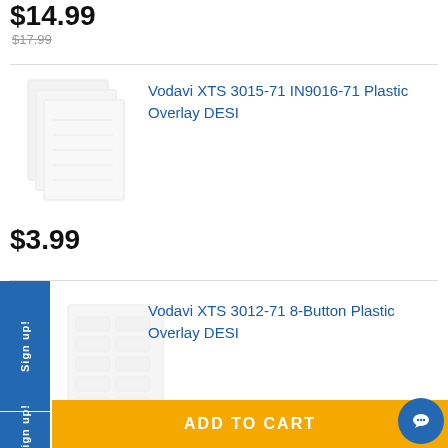$14.99
$17.99
Vodavi XTS 3015-71 IN9016-71 Plastic Overlay DESI
$3.99
Vodavi XTS 3012-71 8-Button Plastic Overlay DESI
Sign up!
Sign up!
ADD TO CART